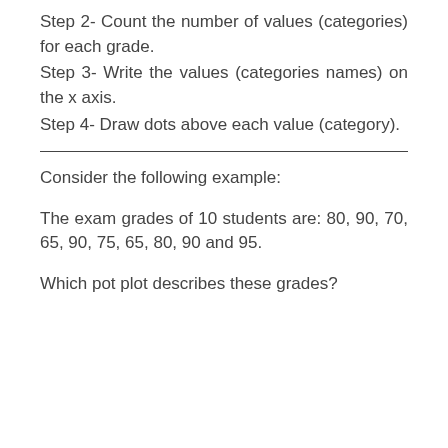Step 2- Count the number of values (categories) for each grade.
Step 3- Write the values (categories names) on the x axis.
Step 4- Draw dots above each value (category).
Consider the following example:
The exam grades of 10 students are: 80, 90, 70, 65, 90, 75, 65, 80, 90 and 95.
Which pot plot describes these grades?